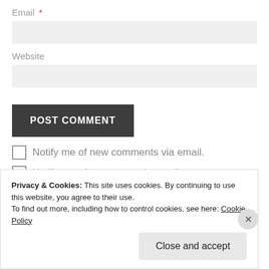Email *
Website
POST COMMENT
Notify me of new comments via email.
Notify me of new posts via email.
Privacy & Cookies: This site uses cookies. By continuing to use this website, you agree to their use. To find out more, including how to control cookies, see here: Cookie Policy
Close and accept